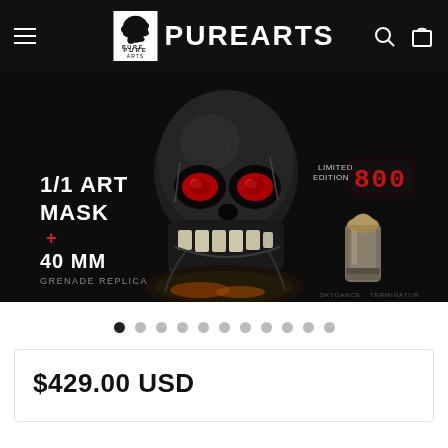[Figure (screenshot): PureArts website navigation bar with hamburger menu, Pure Arts logo, brand name PUREARTS, search icon, and shopping bag icon on black background]
[Figure (photo): Terminator skull art mask product photo on dark background showing a metallic skull with red glowing eyes, text '1/1 ART MASK + 40 MM GRENADE REPLICA', 'LIMITED EDITION OF 800' in red digital display font, and a bullet/grenade replica on the right]
[Figure (other): Carousel pagination dots: 11 dots with first dot filled black and rest gray]
$429.00 USD